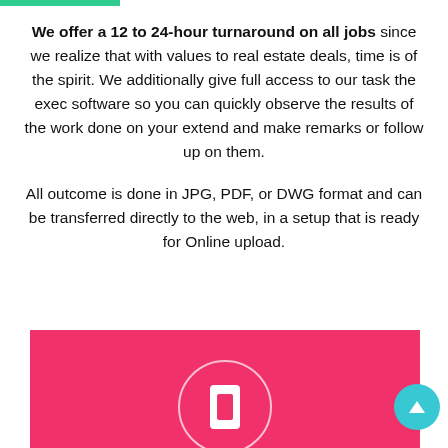We offer a 12 to 24-hour turnaround on all jobs since we realize that with values to real estate deals, time is of the spirit. We additionally give full access to our task the exec software so you can quickly observe the results of the work done on your extend and make remarks or follow up on them.
All outcome is done in JPG, PDF, or DWG format and can be transferred directly to the web, in a setup that is ready for Online upload.
[Figure (illustration): Pink/magenta section at the bottom with a white circle outline containing a white phone icon, and a teal circular scroll-to-top button with an upward arrow in the bottom right.]